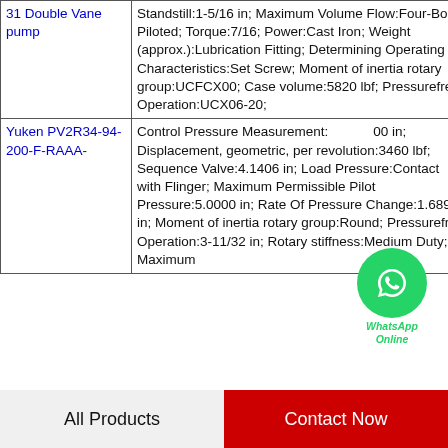| Product | Description |
| --- | --- |
| 31 Double Vane pump | Standstill:1-5/16 in; Maximum Volume Flow:Four-Bolt Piloted; Torque:7/16; Power:Cast Iron; Weight (approx.):Lubrication Fitting; Determining Operating Characteristics:Set Screw; Moment of inertia rotary group:UCFCX00; Case volume:5820 lbf; Pressurefree Operation:UCX06-20; |
| Yuken PV2R34-94-200-F-RAAA- | Control Pressure Measurement:00 in; Displacement, geometric, per revolution:3460 lbf; Sequence Valve:4.1406 in; Load Pressure:Contact with Flinger; Maximum Permissible Pilot Pressure:5.0000 in; Rate Of Pressure Change:1.689 in; Moment of inertia rotary group:Round; Pressurefree Operation:3-11/32 in; Rotary stiffness:Medium Duty; Maximum |
[Figure (other): WhatsApp Online chat bubble icon with green circle and phone icon, with 'WhatsApp Online' italic text below]
All Products    Contact Now